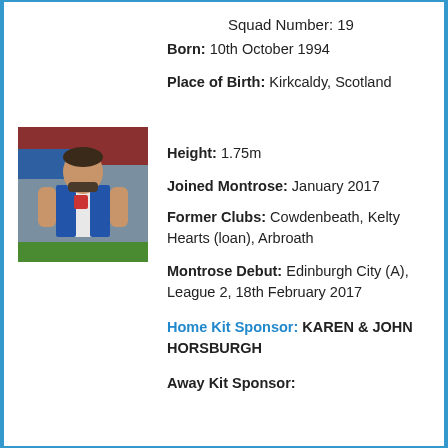Squad Number: 19
Born: 10th October 1994
Place of Birth: Kirkcaldy, Scotland
[Figure (photo): Football player in blue and white Montrose kit standing in a stadium]
Height: 1.75m
Joined Montrose: January 2017
Former Clubs: Cowdenbeath, Kelty Hearts (loan), Arbroath
Montrose Debut: Edinburgh City (A), League 2, 18th February 2017
Home Kit Sponsor: KAREN & JOHN HORSBURGH
Away Kit Sponsor: